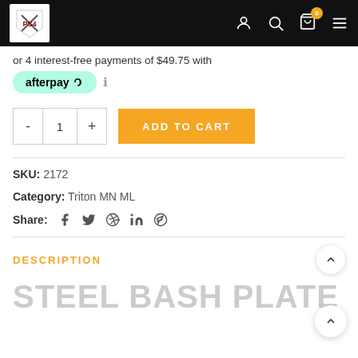[Figure (logo): Website header with dark background, logo shield on left, user/search/cart/menu icons on right, cart has badge with 0]
or 4 interest-free payments of $49.75 with
[Figure (logo): Afterpay badge - teal/mint rounded pill with afterpay logo and link icon, followed by info icon]
[Figure (other): Quantity selector with minus, 1, plus buttons and golden ADD TO CART button]
SKU: 2172
Category: Triton MN ML
Share: social media icons (Facebook, Twitter, Pinterest, LinkedIn, Telegram)
DESCRIPTION
STEEL BASH PLATE